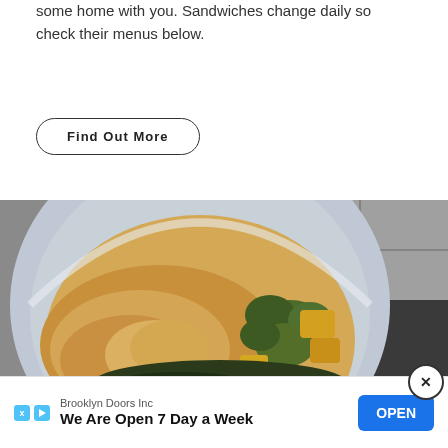some home with you. Sandwiches change daily so check their menus below.
Find Out More
[Figure (photo): A white bowl containing rice with roasted vegetables including broccoli and yellow squash/pineapple chunks, photographed from above on a dark surface.]
Brooklyn Doors Inc
We Are Open 7 Day a Week
OPEN